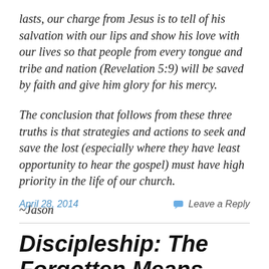lasts, our charge from Jesus is to tell of his salvation with our lips and show his love with our lives so that people from every tongue and tribe and nation (Revelation 5:9) will be saved by faith and give him glory for his mercy.
The conclusion that follows from these three truths is that strategies and actions to seek and save the lost (especially where they have least opportunity to hear the gospel) must have high priority in the life of our church.
~Jason
April 28, 2014
Leave a Reply
Discipleship: The Forgotten Means